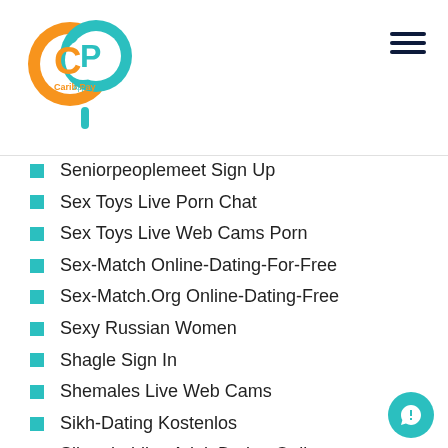[Figure (logo): Carib Pay App logo - circular design with orange C and teal P letters]
Seniorpeoplemeet Sign Up
Sex Toys Live Porn Chat
Sex Toys Live Web Cams Porn
Sex-Match Online-Dating-For-Free
Sex-Match.Org Online-Dating-Free
Sexy Russian Women
Shagle Sign In
Shemales Live Web Cams
Sikh-Dating Kostenlos
Silverdaddies Adult Dating Online
SilverSingles Free App